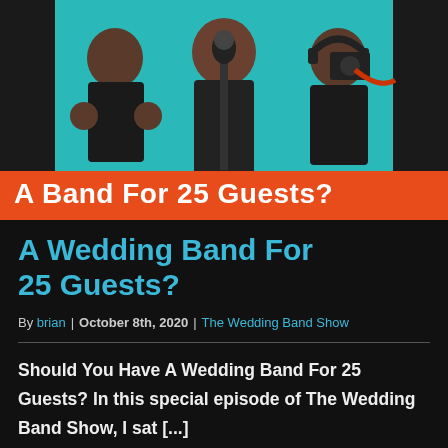[Figure (photo): Three men in black shirts standing in front of a teal background, with podcast microphones. Orange banner at bottom reads 'A Band For 25 Guests?']
A Wedding Band For 25 Guests?
By brian | October 8th, 2020 | The Wedding Band Show
Should You Have A Wedding Band For 25 Guests? In this special episode of The Wedding Band Show, I sat [...]